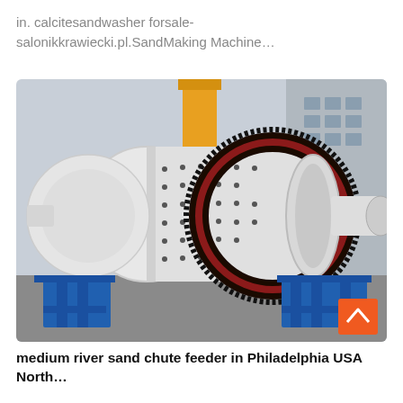in. calcitesandwasher forsale-salonikkrawiecki.pl.SandMaking Machine…
[Figure (photo): Large industrial ball mill machine with white cylindrical body, large black toothed gear ring, mounted on blue metal supports/frames, photographed outdoors in an industrial facility with yellow crane and grey building in background.]
medium river sand chute feeder in Philadelphia USA North...